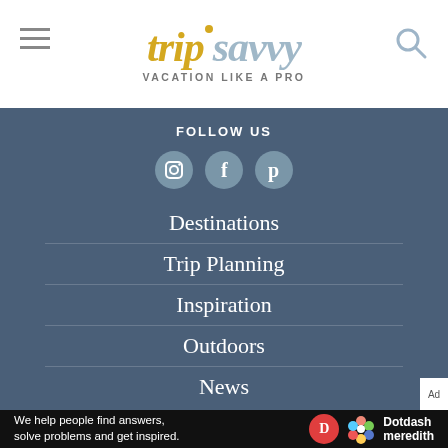trip savvy — VACATION LIKE A PRO
FOLLOW US
[Figure (illustration): Three social media icons: Instagram, Facebook, Pinterest in light blue circles]
Destinations
Trip Planning
Inspiration
Outdoors
News
We help people find answers, solve problems and get inspired. Dotdash meredith